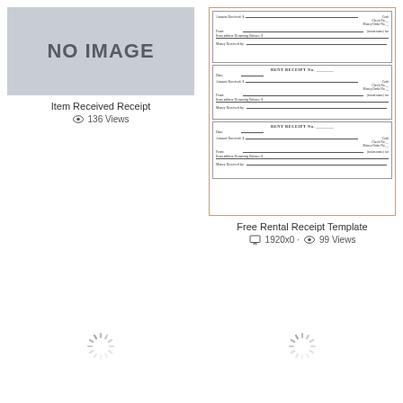[Figure (other): No image placeholder box with grey background and bold text 'NO IMAGE']
Item Received Receipt
136 Views
[Figure (other): Thumbnail of a Free Rental Receipt Template showing three rent receipt sections with fields for Date, Amount Received, Cash/Check/Money Order, From, Tenant name, Items address, Remaining Balance, and Money Received by]
Free Rental Receipt Template
1920x0 · 99 Views
[Figure (other): Loading spinner icon (left bottom)]
[Figure (other): Loading spinner icon (right bottom)]